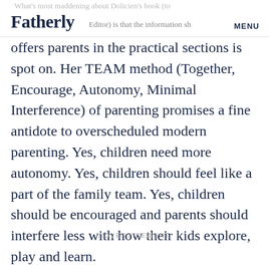Fatherly | MENU
offers parents in the practical sections is spot on. Her TEAM method (Together, Encourage, Autonomy, Minimal Interference) of parenting promises a fine antidote to overscheduled modern parenting. Yes, children need more autonomy. Yes, children should feel like a part of the family team. Yes, children should be encouraged and parents should interfere less with how their kids explore, play and learn.
ADVERTISEMENT